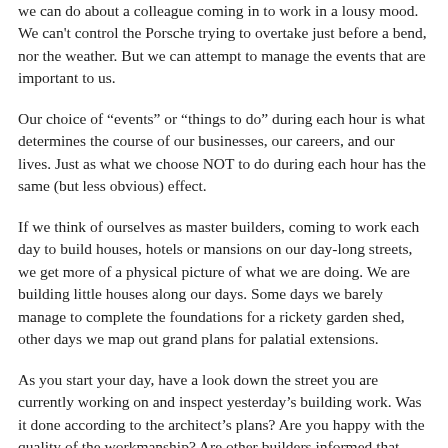we can do about a colleague coming in to work in a lousy mood. We can't control the Porsche trying to overtake just before a bend, nor the weather. But we can attempt to manage the events that are important to us.
Our choice of “events” or “things to do” during each hour is what determines the course of our businesses, our careers, and our lives. Just as what we choose NOT to do during each hour has the same (but less obvious) effect.
If we think of ourselves as master builders, coming to work each day to build houses, hotels or mansions on our day-long streets, we get more of a physical picture of what we are doing. We are building little houses along our days. Some days we barely manage to complete the foundations for a rickety garden shed, other days we map out grand plans for palatial extensions.
As you start your day, have a look down the street you are currently working on and inspect yesterday’s building work. Was it done according to the architect’s plans? Are you happy with the quality of the workmanship? Are other builders informed that there are plans andonstruction?